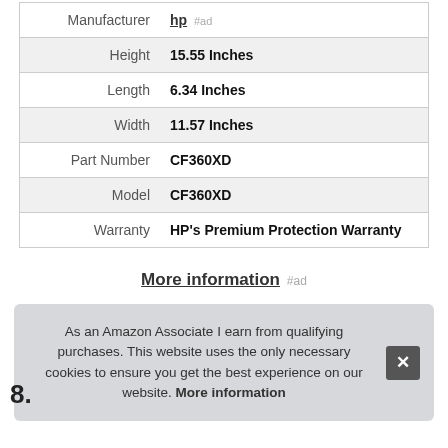| Attribute | Value |
| --- | --- |
| Manufacturer | hp #ad |
| Height | 15.55 Inches |
| Length | 6.34 Inches |
| Width | 11.57 Inches |
| Part Number | CF360XD |
| Model | CF360XD |
| Warranty | HP's Premium Protection Warranty |
More information #ad
As an Amazon Associate I earn from qualifying purchases. This website uses the only necessary cookies to ensure you get the best experience on our website. More information
8.